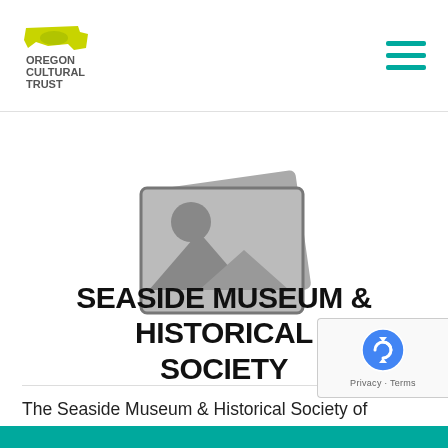Oregon Cultural Trust — navigation header with logo and hamburger menu
[Figure (illustration): Gray placeholder image icon showing stacked photos with mountain/landscape silhouette]
SEASIDE MUSEUM & HISTORICAL SOCIETY
The Seaside Museum & Historical Society of Oregon is a non-profit educational institution incorporated by the State of Oregon to collect, preserve and inter materials illustrative of the...